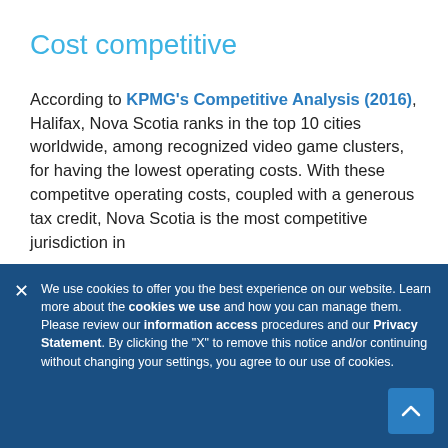Cost competitive
According to KPMG's Competitive Analysis (2016), Halifax, Nova Scotia ranks in the top 10 cities worldwide, among recognized video game clusters, for having the lowest operating costs. With these competitve operating costs, coupled with a generous tax credit, Nova Scotia is the most competitive jurisdiction in
We use cookies to offer you the best experience on our website. Learn more about the cookies we use and how you can manage them. Please review our information access procedures and our Privacy Statement. By clicking the "X" to remove this notice and/or continuing without changing your settings, you agree to our use of cookies.